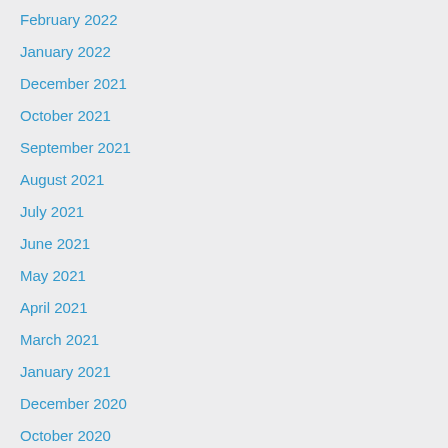February 2022
January 2022
December 2021
October 2021
September 2021
August 2021
July 2021
June 2021
May 2021
April 2021
March 2021
January 2021
December 2020
October 2020
September 2020